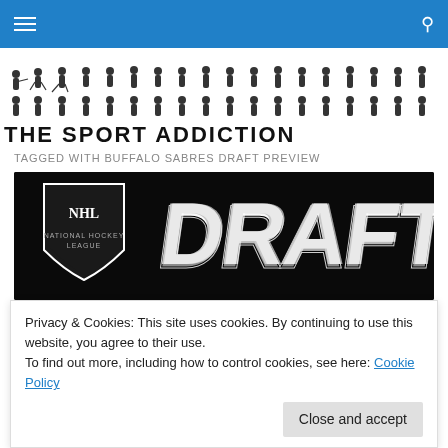Navigation bar with hamburger menu and search icon
[Figure (logo): The Sport Addiction logo with silhouettes of athletes from various sports and the text 'THE SPORT ADDICTION']
TAGGED WITH BUFFALO SABRES DRAFT PREVIEW
[Figure (photo): NHL Draft logo — NHL shield logo on left and large italic 'DRAFT' text in silver/chrome lettering on black background]
Privacy & Cookies: This site uses cookies. By continuing to use this website, you agree to their use.
To find out more, including how to control cookies, see here: Cookie Policy
Success (2013 NHL Draft